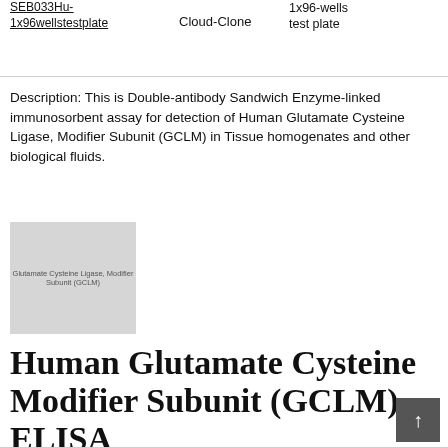| Product | Supplier | Size |
| --- | --- | --- |
| SEBxxxHu-1x96wellstestplate | Cloud-Clone | 1x96-wells test plate |
Description: This is Double-antibody Sandwich Enzyme-linked immunosorbent assay for detection of Human Glutamate Cysteine Ligase, Modifier Subunit (GCLM) in Tissue homogenates and other biological fluids.
[Figure (photo): Product image of Glutamate Cysteine Ligase, Modifier Subunit (GCLM) ELISA kit]
Human Glutamate Cysteine Modifier Subunit (GCLM) ELISA Kit